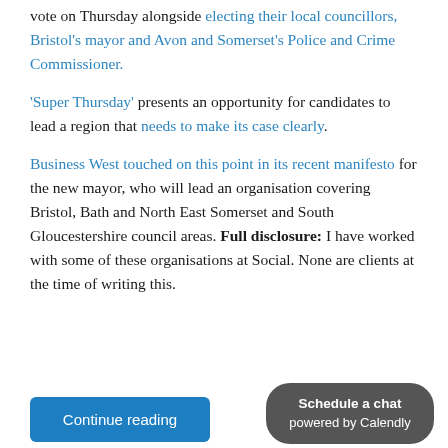vote on Thursday alongside electing their local councillors, Bristol's mayor and Avon and Somerset's Police and Crime Commissioner.
'Super Thursday' presents an opportunity for candidates to lead a region that needs to make its case clearly.
Business West touched on this point in its recent manifesto for the new mayor, who will lead an organisation covering Bristol, Bath and North East Somerset and South Gloucestershire council areas. Full disclosure: I have worked with some of these organisations at Social. None are clients at the time of writing this.
Continue reading
Schedule a chat powered by Calendly